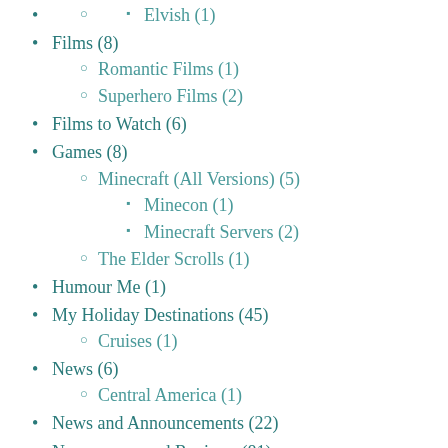Elvish (1)
Films (8)
Romantic Films (1)
Superhero Films (2)
Films to Watch (6)
Games (8)
Minecraft (All Versions) (5)
Minecon (1)
Minecraft Servers (2)
The Elder Scrolls (1)
Humour Me (1)
My Holiday Destinations (45)
Cruises (1)
News (6)
Central America (1)
News and Announcements (22)
Newspapers and Reviews (81)
Newspapers (9)
News in a Nutshell (9)
Reviews (72)
Airline Reviews (1)
Attraction Reviews (17)
Book Reviews (17)